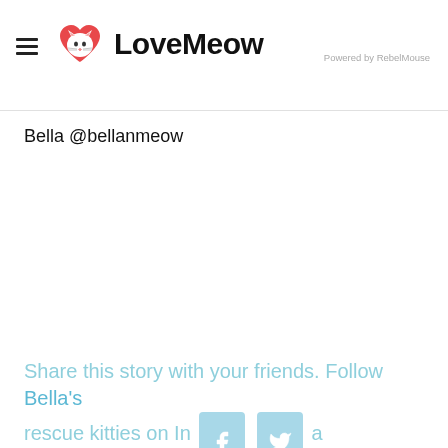LoveMeow — Powered by RebelMouse
Bella @bellanmeow
Share this story with your friends. Follow Bella's rescue kitties on In[stagram]